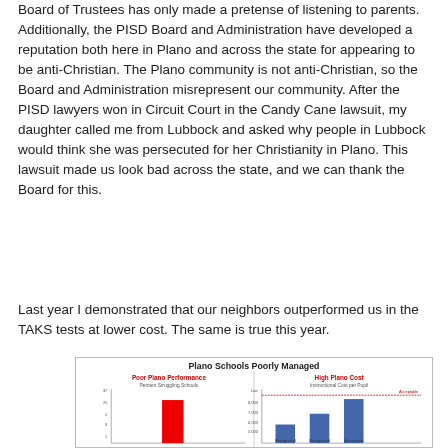Board of Trustees has only made a pretense of listening to parents. Additionally, the PISD Board and Administration have developed a reputation both here in Plano and across the state for appearing to be anti-Christian. The Plano community is not anti-Christian, so the Board and Administration misrepresent our community. After the PISD lawyers won in Circuit Court in the Candy Cane lawsuit, my daughter called me from Lubbock and asked why people in Lubbock would think she was persecuted for her Christianity in Plano. This lawsuit made us look bad across the state, and we can thank the Board for this.
Last year I demonstrated that our neighbors outperformed us in the TAKS tests at lower cost. The same is true this year.
[Figure (bar-chart): Two side-by-side bar charts: left chart titled 'Poor Plano Performance' showing Percent Struggling Schools with a tall red bar; right chart titled 'High Plano Cost' showing Instructional Cost per Pupil with blue bars for Recognized, Recognized, and Acceptable categories.]